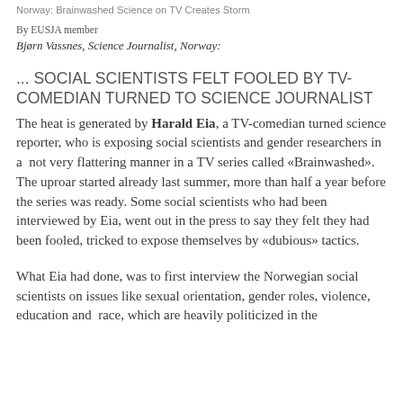Norway: Brainwashed Science on TV Creates Storm
By EUSJA member
Bjørn Vassnes, Science Journalist, Norway:
... SOCIAL SCIENTISTS FELT FOOLED BY TV-COMEDIAN TURNED TO SCIENCE JOURNALIST
The heat is generated by Harald Eia, a TV-comedian turned science reporter, who is exposing social scientists and gender researchers in a  not very flattering manner in a TV series called «Brainwashed». The uproar started already last summer, more than half a year before the series was ready. Some social scientists who had been interviewed by Eia, went out in the press to say they felt they had been fooled, tricked to expose themselves by «dubious» tactics.
What Eia had done, was to first interview the Norwegian social scientists on issues like sexual orientation, gender roles, violence, education and  race, which are heavily politicized in the